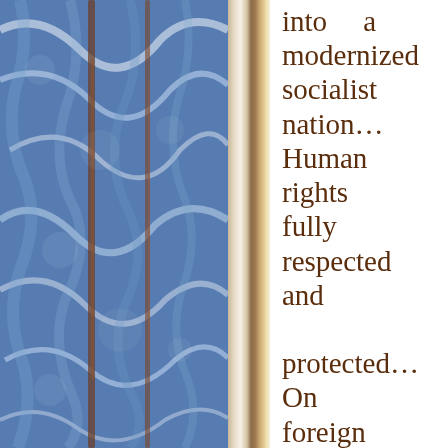[Figure (photo): Left half of the page shows a decorative marbled or patterned book cover/page in blue and white tones with brown vertical spine elements visible. A book spine with dark brown and tan gradient separates the decorative left portion from the white text area on the right.]
into a modernized socialist nation… Human rights fully respected and protected… On foreign policy, for the sake of world